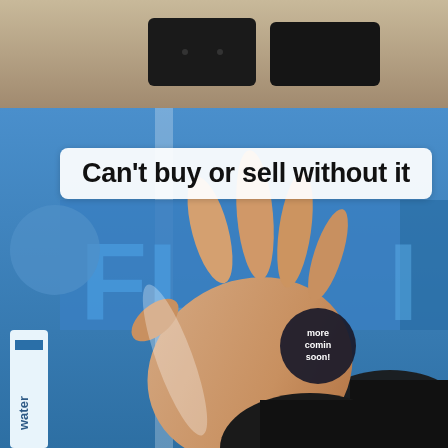[Figure (photo): A close-up video screenshot showing a hand reaching toward what appears to be a payment or scanning kiosk/vending machine with blue branding partly visible ('FL' letters). The top of the image shows two dark rectangular screens. A circular badge in the lower middle reads 'more coming soon!'. Partial text 'water' visible on left side. Blue and white branding partially visible at bottom right.]
Can't buy or sell without it